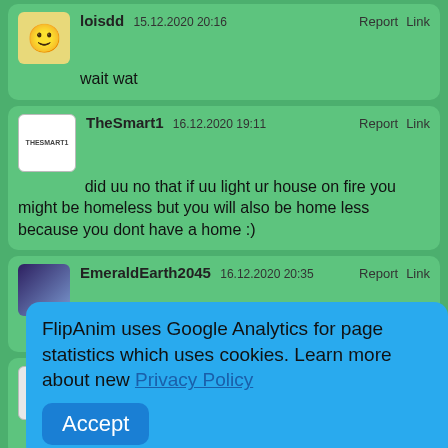loisdd 15.12.2020 20:16 — wait wat
TheSmart1 16.12.2020 19:11 — did uu no that if uu light ur house on fire you might be homeless but you will also be home less because you dont have a home :)
EmeraldEarth2045 16.12.2020 20:35 — THIS IS SUPER NOICE!!!!
popoee 21.12.2020 01:15 — I get it
Temshop 30.12.2020 18:04 — what the frick that saying scares me yet it
FlipAnim uses Google Analytics for page statistics which uses cookies. Learn more about new Privacy Policy — Accept